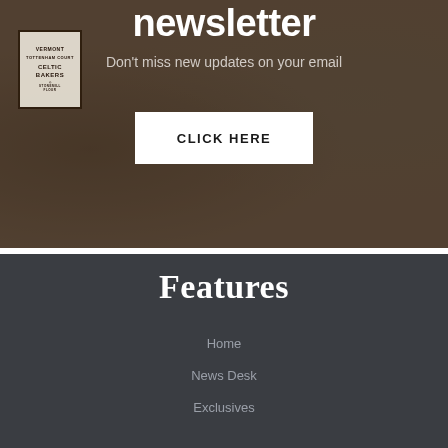[Figure (photo): Background photo of bread products including Celtic Bakers Vermont bread loaves with packaging, overlaid with newsletter sign-up content]
newsletter
Don't miss new updates on your email
CLICK HERE
Features
Home
News Desk
Exclusives